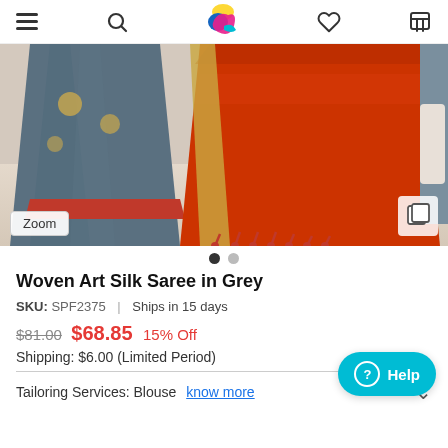Navigation header with hamburger menu, search, logo, heart/wishlist, and cart icons
[Figure (photo): Product photo of a Woven Art Silk Saree in Grey with red border and gold embroidery, displayed draped showing pleats and pallu with red tassels. Zoom button at bottom left, gallery icon at bottom right.]
Woven Art Silk Saree in Grey
SKU: SPF2375 | Ships in 15 days
$81.00 $68.85 15% Off
Shipping: $6.00 (Limited Period)
Tailoring Services: Blouse know more